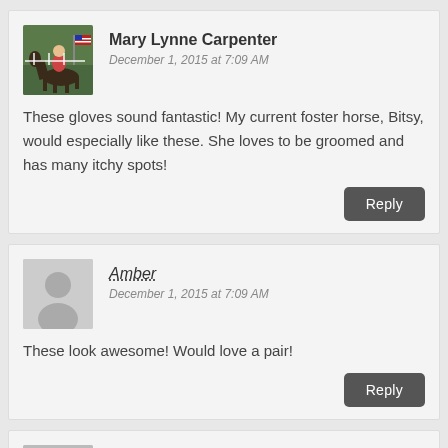Mary Lynne Carpenter
December 1, 2015 at 7:09 AM
These gloves sound fantastic! My current foster horse, Bitsy, would especially like these. She loves to be groomed and has many itchy spots!
Reply
Amber
December 1, 2015 at 7:09 AM
These look awesome! Would love a pair!
Reply
Lauren